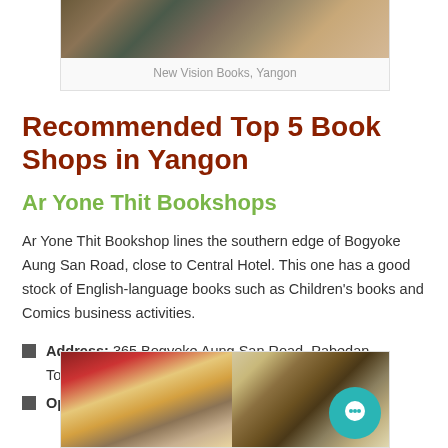[Figure (photo): Photo of a bookshop interior with stacked books and shelves]
New Vision Books, Yangon
Recommended Top 5 Book Shops in Yangon
Ar Yone Thit Bookshops
Ar Yone Thit Bookshop lines the southern edge of Bogyoke Aung San Road, close to Central Hotel. This one has a good stock of English-language books such as Children's books and Comics business activities.
Address: 365 Bogyoke Aung San Road, Pabedan Township
Opening Hours: 9am ~ 6:30pm
[Figure (photo): Photo of bookshop with book spines visible including 'The Cambodian Book of the Dead - Tom Vater' and library shelves]